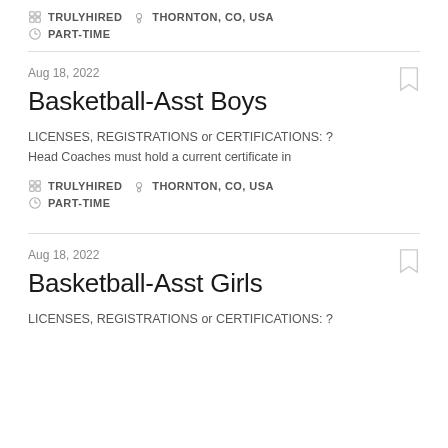TRULYHIRED   THORNTON, CO, USA
PART-TIME
Aug 18, 2022
Basketball-Asst Boys
LICENSES, REGISTRATIONS or CERTIFICATIONS: ?
Head Coaches must hold a current certificate in
TRULYHIRED   THORNTON, CO, USA
PART-TIME
Aug 18, 2022
Basketball-Asst Girls
LICENSES, REGISTRATIONS or CERTIFICATIONS: ?